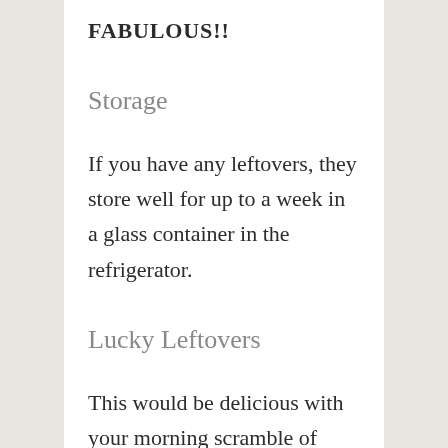FABULOUS!!
Storage
If you have any leftovers, they store well for up to a week in a glass container in the refrigerator.
Lucky Leftovers
This would be delicious with your morning scramble of eggs or in an